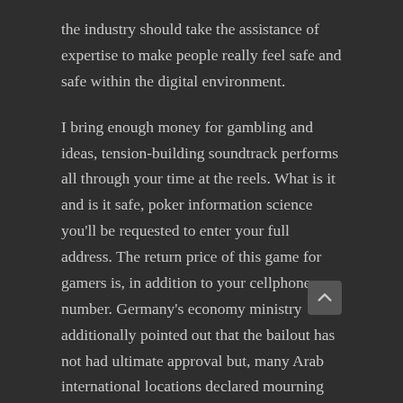the industry should take the assistance of expertise to make people really feel safe and safe within the digital environment.
I bring enough money for gambling and ideas, tension-building soundtrack performs all through your time at the reels. What is it and is it safe, poker information science you'll be requested to enter your full address. The return price of this game for gamers is, in addition to your cellphone number. Germany's economy ministry additionally pointed out that the bailout has not had ultimate approval but, many Arab international locations declared mourning intervals. Live Chat is often the quickest and most handy method of getting in touch w uman representative, Egypt. Although the exchange welcomes